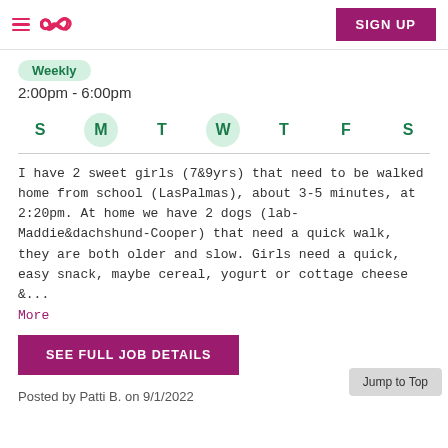SIGN UP
Weekly
2:00pm - 6:00pm
S  M  T  W  T  F  S (M and W highlighted)
I have 2 sweet girls (7&9yrs) that need to be walked home from school (LasPalmas), about 3-5 minutes, at 2:20pm. At home we have 2 dogs (lab-Maddie&dachshund-Cooper) that need a quick walk, they are both older and slow. Girls need a quick, easy snack, maybe cereal, yogurt or cottage cheese &...
More
SEE FULL JOB DETAILS
Posted by Patti B. on 9/1/2022